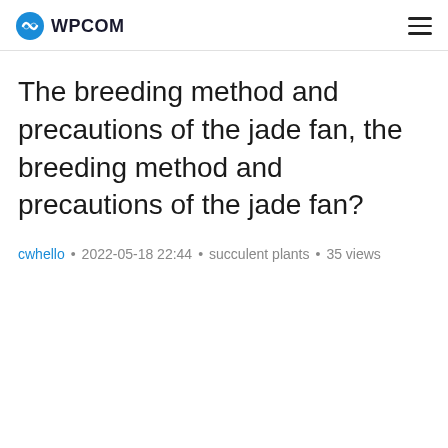WPCOM
The breeding method and precautions of the jade fan, the breeding method and precautions of the jade fan?
cwhello • 2022-05-18 22:44 • succulent plants • 35 views